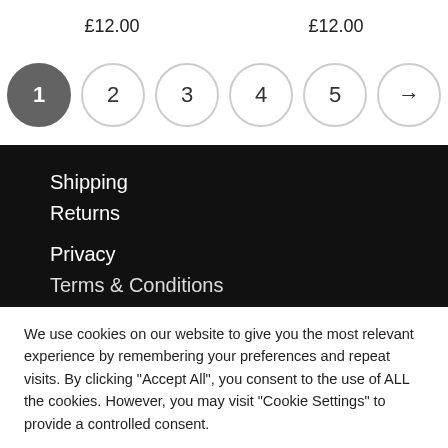£12.00   £12.00
[Figure (other): Pagination control with circles numbered 1 (active/dark), 2, 3, 4, 5, and a right arrow button]
Shipping
Returns
Privacy
Terms & Conditions
We use cookies on our website to give you the most relevant experience by remembering your preferences and repeat visits. By clicking "Accept All", you consent to the use of ALL the cookies. However, you may visit "Cookie Settings" to provide a controlled consent.
Cookie Settings   Accept All